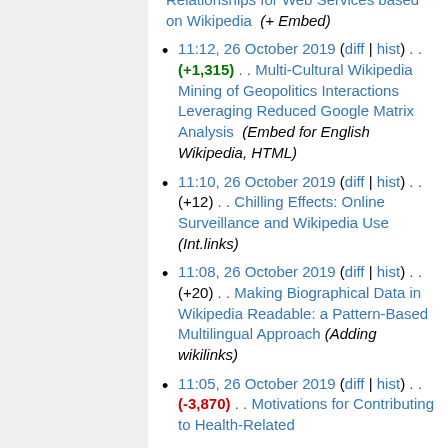11:12, 26 October 2019 (diff | hist) . . (+1,315) . . Multi-Cultural Wikipedia Mining of Geopolitics Interactions Leveraging Reduced Google Matrix Analysis (Embed for English Wikipedia, HTML)
11:10, 26 October 2019 (diff | hist) . . (+12) . . Chilling Effects: Online Surveillance and Wikipedia Use (Int.links)
11:08, 26 October 2019 (diff | hist) . . (+20) . . Making Biographical Data in Wikipedia Readable: a Pattern-Based Multilingual Approach (Adding wikilinks)
11:05, 26 October 2019 (diff | hist) . . (-3,870) . . Motivations for Contributing to Health-Related